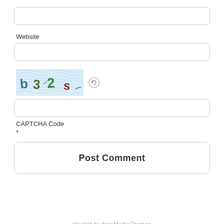[Figure (screenshot): Empty text input field (rounded rectangle)]
Website
[Figure (screenshot): Empty text input field for website URL (rounded rectangle)]
[Figure (other): CAPTCHA image showing text 'b3 2 s' with wavy blue background pattern, followed by a refresh/reload icon]
[Figure (screenshot): Empty text input field for CAPTCHA code (rounded rectangle)]
CAPTCHA Code
*
[Figure (screenshot): Post Comment button (rounded rectangle with bold text)]
Idealist by NewMediaThemes